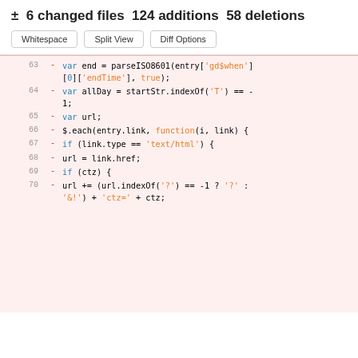± 6 changed files  124 additions  58 deletions
[Figure (screenshot): Diff viewer toolbar with Whitespace, Split View, and Diff Options buttons]
63  -  var end = parseISO8601(entry['gd$when'][0]['endTime'], true);
64  -  var allDay = startStr.indexOf('T') == -1;
65  -  var url;
66  -  $.each(entry.link, function(i, link) {
67  -  if (link.type == 'text/html') {
68  -  url = link.href;
69  -  if (ctz) {
70  -  url += (url.indexOf('?') == -1 ? '?' : '&!') + 'ctz=' + ctz;